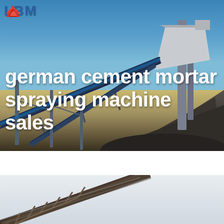[Figure (photo): Industrial quarry/mining conveyor belt system with aggregate piles under blue sky, LBM logo top left]
german cement mortar spraying machine sales
[Figure (photo): Industrial conveyor belt structure extending diagonally against a light grey/white sky]